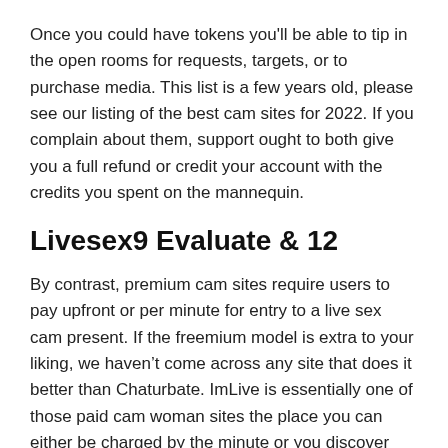Once you could have tokens you'll be able to tip in the open rooms for requests, targets, or to purchase media. This list is a few years old, please see our listing of the best cam sites for 2022. If you complain about them, support ought to both give you a full refund or credit your account with the credits you spent on the mannequin.
Livesex9 Evaluate & 12
By contrast, premium cam sites require users to pay upfront or per minute for entry to a live sex cam present. If the freemium model is extra to your liking, we haven't come across any site that does it better than Chaturbate. ImLive is essentially one of those paid cam woman sites the place you can either be charged by the minute or you discover yourself sending “tips” to their cam fashions. Point is, it all is decided by the performer, so rates might differ relying on the sort of show you’re on the lookout for. That’s because